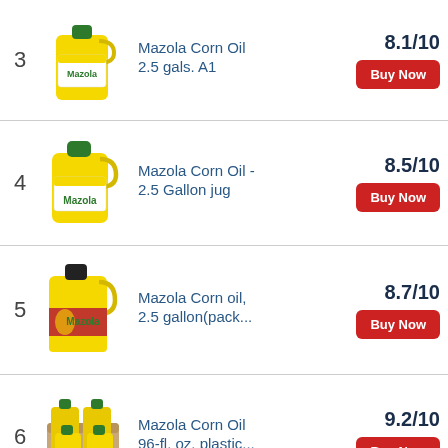3 Mazola Corn Oil 2.5 gals. A1 — 8.1/10
4 Mazola Corn Oil - 2.5 Gallon jug — 8.5/10
5 Mazola Corn oil, 2.5 gallon(pack... — 8.7/10
6 Mazola Corn Oil 96-fl. oz. plastic... — 9.2/10